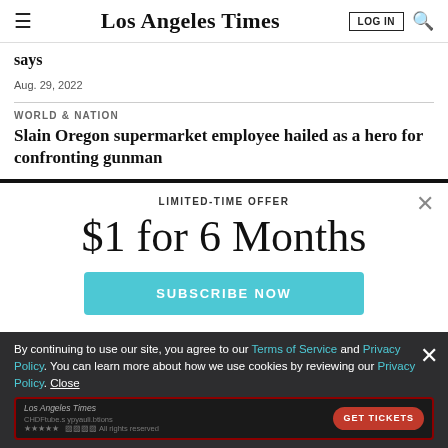Los Angeles Times
says
Aug. 29, 2022
WORLD & NATION
Slain Oregon supermarket employee hailed as a hero for confronting gunman
LIMITED-TIME OFFER
$1 for 6 Months
SUBSCRIBE NOW
By continuing to use our site, you agree to our Terms of Service and Privacy Policy. You can learn more about how we use cookies by reviewing our Privacy Policy. Close